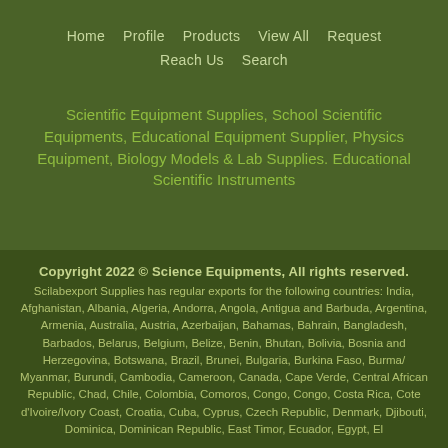Home   Profile   Products   View All   Request   Reach Us   Search
Scientific Equipment Supplies, School Scientific Equipments, Educational Equipment Supplier, Physics Equipment, Biology Models & Lab Supplies. Educational Scientific Instruments
Copyright 2022 © Science Equipments, All rights reserved. Scilabexport Supplies has regular exports for the following countries: India, Afghanistan, Albania, Algeria, Andorra, Angola, Antigua and Barbuda, Argentina, Armenia, Australia, Austria, Azerbaijan, Bahamas, Bahrain, Bangladesh, Barbados, Belarus, Belgium, Belize, Benin, Bhutan, Bolivia, Bosnia and Herzegovina, Botswana, Brazil, Brunei, Bulgaria, Burkina Faso, Burma/ Myanmar, Burundi, Cambodia, Cameroon, Canada, Cape Verde, Central African Republic, Chad, Chile, Colombia, Comoros, Congo, Congo, Costa Rica, Cote d'Ivoire/Ivory Coast, Croatia, Cuba, Cyprus, Czech Republic, Denmark, Djibouti, Dominica, Dominican Republic, East Timor, Ecuador, Egypt, El